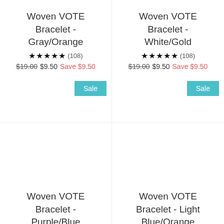Woven VOTE Bracelet - Gray/Orange ★★★★★ (108) $19.00 $9.50 Save $9.50
Woven VOTE Bracelet - White/Gold ★★★★★ (108) $19.00 $9.50 Save $9.50
Sale
Sale
Woven VOTE Bracelet - Purple/Blue
Woven VOTE Bracelet - Light Blue/Orange